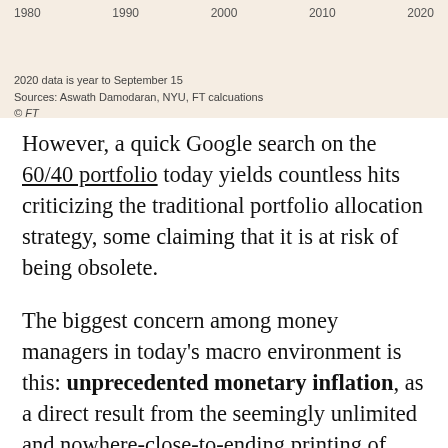[Figure (continuous-plot): Partial bottom view of a time-series chart with x-axis labels showing years 1980, 1990, 2000, 2010, 2020 on a beige/salmon background.]
2020 data is year to September 15
Sources: Aswath Damodaran, NYU, FT calcuations
© FT
However, a quick Google search on the 60/40 portfolio today yields countless hits criticizing the traditional portfolio allocation strategy, some claiming that it is at risk of being obsolete.
The biggest concern among money managers in today's macro environment is this: unprecedented monetary inflation, as a direct result from the seemingly unlimited and nowhere-close-to-ending printing of dollars.
In essence, in order to support the economy and financial markets during the years of a global pandemic, central bankers have clearly stated their intent to...